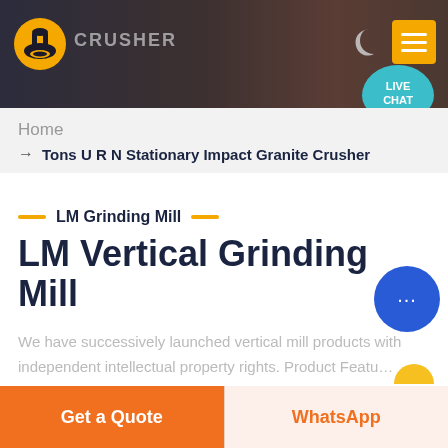CRUSHER — LM Grinding Mill website header
Home
→ Tons U R N Stationary Impact Granite Crusher
LM Grinding Mill
LM Vertical Grinding Mill
We have successively launched vertical mill products with independent intellectual property rights. Product Features: Integration of multiple functions, more stable and reliable
Get a Quote
WhatsApp